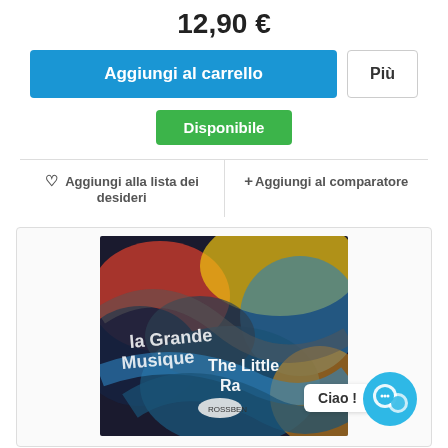12,90 €
Aggiungi al carrello
Più
Disponibile
♡ Aggiungi alla lista dei desideri
+ Aggiungi al comparatore
[Figure (photo): Album cover artwork for 'la Grande Musique The Little Ra...' with colorful abstract painting style. A chat bubble shows 'Ciao !' with a blue chat icon on the bottom right.]